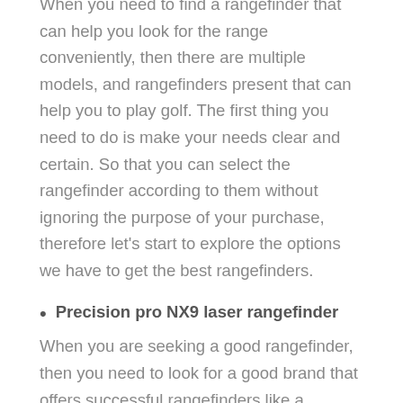When you need to find a rangefinder that can help you look for the range conveniently, then there are multiple models, and rangefinders present that can help you to play golf. The first thing you need to do is make your needs clear and certain. So that you can select the rangefinder according to them without ignoring the purpose of your purchase, therefore let's start to explore the options we have to get the best rangefinders.
Precision pro NX9 laser rangefinder
When you are seeking a good rangefinder, then you need to look for a good brand that offers successful rangefinders like a precision pro. They are offering highly upgraded and fantastic rangefinders every year. One can earn many benefits by getting this rangefinder you need to look for is very affordable.